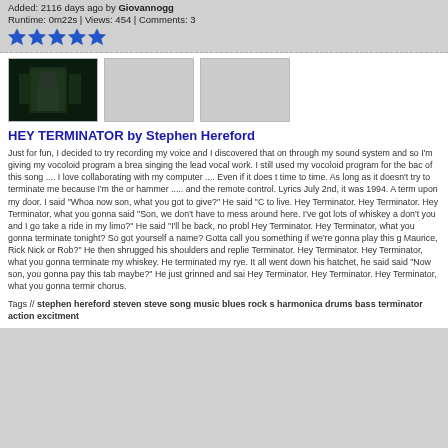Added: 2116 days ago by Giovannogg
Runtime: 0m22s | Views: 454 | Comments: 3
[Figure (other): Five blue star rating icons]
[Figure (photo): Dark thumbnail image of a figure, possibly from a Terminator-themed video]
[Figure (other): Blank gray thumbnail placeholder]
[Figure (other): Blank gray thumbnail placeholder]
HEY TERMINATOR by Stephen Hereford
Just for fun, I decided to try recording my voice and I discovered that on through my sound system and so I'm giving my vocoloid program a brea singing the lead vocal work. I still used my vocoloid program for the bac of this song .... I love collaborating with my computer .... Even if it does t time to time. As long as it doesn't try to terminate me because I'm the or hammer ..... and the remote control. Lyrics July 2nd, it was 1994. A term upon my door. I said "Whoa now son, what you got to give?" He said "C to live. Hey Terminator. Hey Terminator. Hey Terminator, what you gonna said "Son, we don't have to mess around here. I've got lots of whiskey a don't you and I go take a ride in my limo?" He said "I'll be back, no probl Hey Terminator. Hey Terminator, what you gonna terminate tonight? So got yourself a name? Gotta call you something if we're gonna play this g Maurice, Rick Nick or Rob?" He then shrugged his shoulders and replie Terminator. Hey Terminator. Hey Terminator, what you gonna terminate my whiskey. He terminated my rye. It all went down his hatchet, he said said "Now son, you gonna pay this tab maybe?" He just grinned and sai Hey Terminator. Hey Terminator. Hey Terminator, what you gonna termir chorus.
Tags // stephen hereford steven steve song music blues rock s harmonica drums bass terminator action excitment